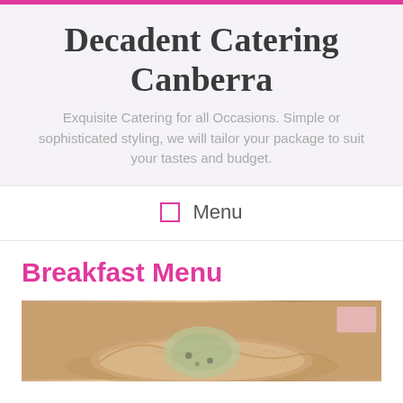Decadent Catering Canberra
Exquisite Catering for all Occasions. Simple or sophisticated styling, we will tailor your package to suit your tastes and budget.
Menu
Breakfast Menu
[Figure (photo): Photograph of a breakfast food dish, appears to show a pastry or food item on a decorative plate with ornamental details]